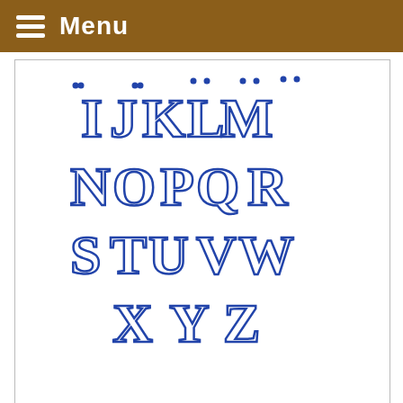Menu
[Figure (illustration): Decorative blue bone-themed alphabet letters showing I J K L M N O P Q R S T U V W X Y Z in ornate style]
Celtic Alphabet
[Figure (illustration): Black and white detailed sketch/embroidery design of a small fluffy dog (Cavalier King Charles Spaniel or similar breed), showing the head and partial body with detailed fur linework]